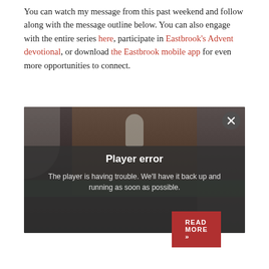You can watch my message from this past weekend and follow along with the message outline below. You can also engage with the entire series here, participate in Eastbrook's Advent devotional, or download the Eastbrook mobile app for even more opportunities to connect.
[Figure (screenshot): Video player showing a church stage scene with a person at a podium, overlaid with a player error message: 'Player error — The player is having trouble. We'll have it back up and running as soon as possible.' with an X close button in the top right.]
READ MORE »